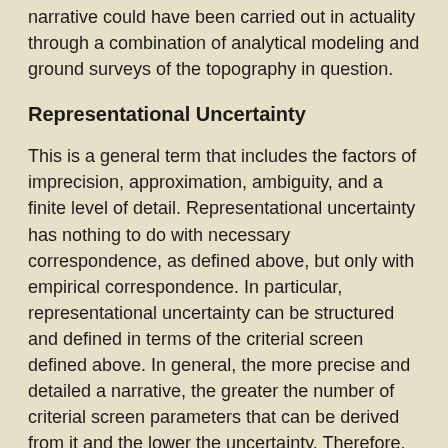narrative could have been carried out in actuality through a combination of analytical modeling and ground surveys of the topography in question.
Representational Uncertainty
This is a general term that includes the factors of imprecision, approximation, ambiguity, and a finite level of detail. Representational uncertainty has nothing to do with necessary correspondence, as defined above, but only with empirical correspondence. In particular, representational uncertainty can be structured and defined in terms of the criterial screen defined above. In general, the more precise and detailed a narrative, the greater the number of criterial screen parameters that can be derived from it and the lower the uncertainty. Therefore, the more precise and detailed the narrative, the greater the degree to which its factuality can be tested through comparison of its criterial screen with the material time-space context that the narrative purports to represent. The lower the precision and detail, the less amenable the narrative is to testing by this means. The level of precision and detail contained in the conquest of Ai narrative permits the formulation of a 14-parameter criterial